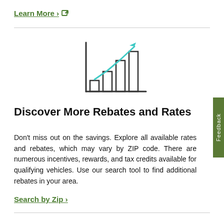Learn More › ⧉
[Figure (illustration): Bar chart icon with teal upward trend arrow overlaid, dark grey bars on chart axes]
Discover More Rebates and Rates
Don't miss out on the savings. Explore all available rates and rebates, which may vary by ZIP code. There are numerous incentives, rewards, and tax credits available for qualifying vehicles. Use our search tool to find additional rebates in your area.
Search by Zip ›